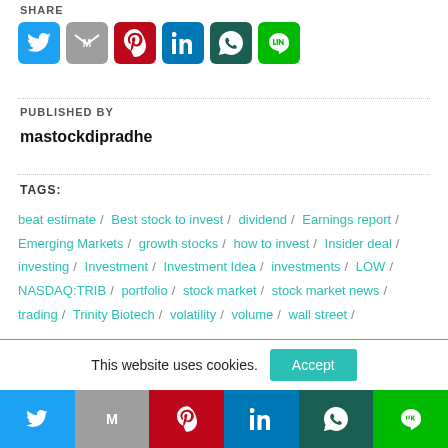SHARE
[Figure (infographic): Row of social sharing icon buttons: Twitter (blue), Gmail (grey), Pinterest (red), LinkedIn (blue), WhatsApp (dark teal), Line (green)]
PUBLISHED BY
mastockdipradhe
TAGS:
beat estimate / Best stock to invest / dividend / Earnings report / Emerging Markets / growth stocks / how to invest / Insider deal / investing / Investment / Investment Idea / investments / LOW / NASDAQ:TRIB / portfolio / stock market / stock market news / trading / Trinity Biotech / volatility / volume / wall street /
This website uses cookies.
[Figure (infographic): Bottom social share bar with Twitter, Gmail, Pinterest, LinkedIn, WhatsApp, Line icons in colored sections]